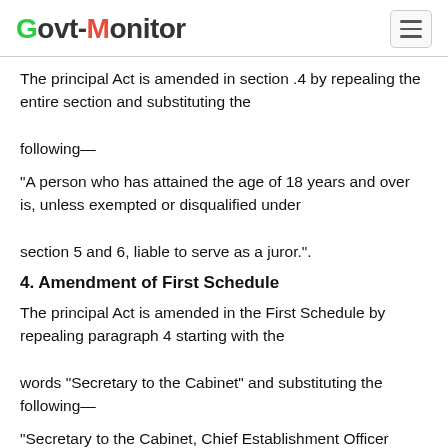Govt-Monitor
The principal Act is amended in section .4 by repealing the entire section and substituting the following—
“A person who has attained the age of 18 years and over is, unless exempted or disqualified under section 5 and 6, liable to serve as a juror.”.
4. Amendment of First Schedule
The principal Act is amended in the First Schedule by repealing paragraph 4 starting with the words “Secretary to the Cabinet” and substituting the following—
“Secretary to the Cabinet, Chief Establishment Officer